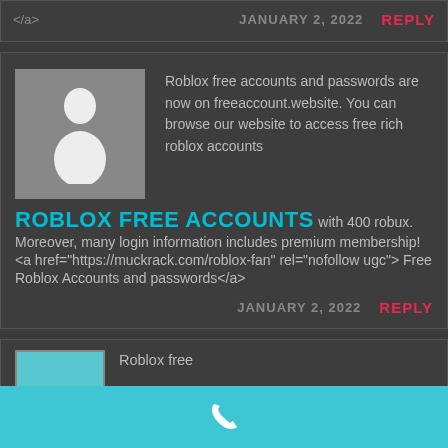</a>
JANUARY 2, 2022
REPLY
[Figure (illustration): User avatar with gray background showing a white person silhouette]
ROBLOX FREE ACCOUNTS
Roblox free accounts and passwords are now on freeaccount.website. You can browse our website to access free rich roblox accounts with 400 robux. Moreover, many login information includes premium membership! <a href="https://muckrack.com/roblox-fan" rel="nofollow ugc"> Free Roblox Accounts and passwords</a>
JANUARY 2, 2022
REPLY
Roblox free